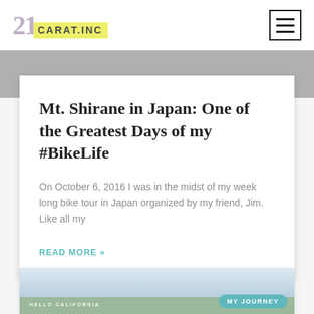21 CARAT.INC
[Figure (screenshot): Gray banner hero image area]
Mt. Shirane in Japan: One of the Greatest Days of my #BikeLife
On October 6, 2016 I was in the midst of my week long bike tour in Japan organized by my friend, Jim. Like all my
READ MORE »
[Figure (photo): Landscape photo with HELLO CALIFORNIA text and MY JOURNEY badge overlay]